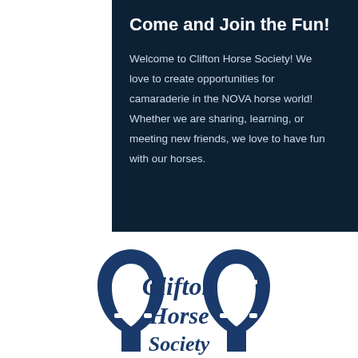Come and Join the Fun!
Welcome to Clifton Horse Society! We love to create opportunities for camaraderie in the NOVA horse world! Whether we are sharing, learning, or meeting new friends, we love to have fun with our horses.
[Figure (logo): Clifton Horse Society logo with two horseshoes framing the text 'Clifton Horse Society' in dark navy blue]